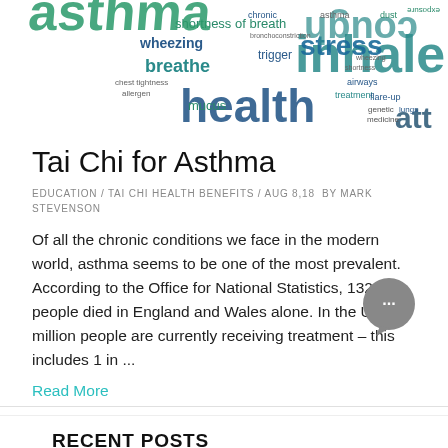[Figure (infographic): Asthma-related word cloud featuring terms like inhaler, health, stress, wheezing, breathe, shortness of breath, trigger, mucus, cough, attack in teal and dark blue colors]
Tai Chi for Asthma
EDUCATION / TAI CHI HEALTH BENEFITS / AUG 8,18  BY MARK STEVENSON
Of all the chronic conditions we face in the modern world, asthma seems to be one of the most prevalent. According to the Office for National Statistics, 1320 people died in England and Wales alone. In the UK, 5.4 million people are currently receiving treatment – this includes 1 in ...
Read More
RECENT POSTS
Struggling To Meditate?